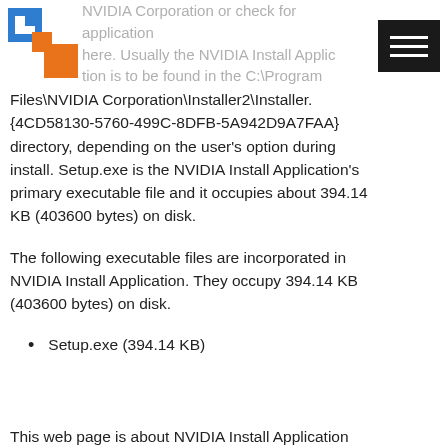NVIDIA Corporation or check for application here. Usually the NVIDIA Install Application is to be found in the C:\Program Files\NVIDIA Corporation\Installer2\Installer.{4CD58130-5760-499C-8DFB-5A942D9A7FAA} directory, depending on the user's option during install. Setup.exe is the NVIDIA Install Application's primary executable file and it occupies about 394.14 KB (403600 bytes) on disk.
The following executable files are incorporated in NVIDIA Install Application. They occupy 394.14 KB (403600 bytes) on disk.
Setup.exe (394.14 KB)
This web page is about NVIDIA Install Application